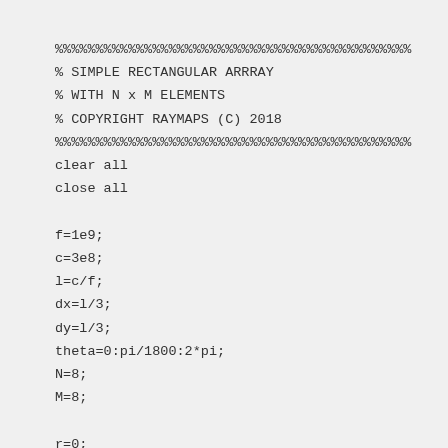%%%%%%%%%%%%%%%%%%%%%%%%%%%%%%%%%%%%%%%%%%%%
% SIMPLE RECTANGULAR ARRRAY
% WITH N x M ELEMENTS
% COPYRIGHT RAYMAPS (C) 2018
%%%%%%%%%%%%%%%%%%%%%%%%%%%%%%%%%%%%%%%%%%%%
clear all
close all

f=1e9;
c=3e8;
l=c/f;
dx=l/3;
dy=l/3;
theta=0:pi/1800:2*pi;
N=8;
M=8;

r=0;
for n=1:N
  for m=1:M